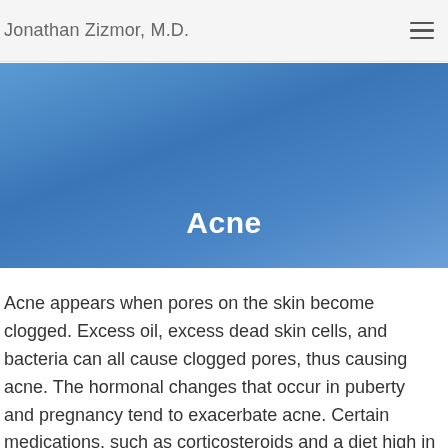Jonathan Zizmor, M.D.
Acne
Acne appears when pores on the skin become clogged. Excess oil, excess dead skin cells, and bacteria can all cause clogged pores, thus causing acne. The hormonal changes that occur in puberty and pregnancy tend to exacerbate acne. Certain medications, such as corticosteroids and a diet high in carbohydrates, put people at a higher risk of developing acne.